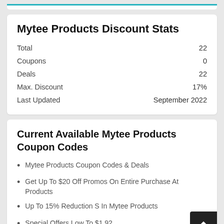|  |  |
| --- | --- |
| Total | 22 |
| Coupons | 0 |
| Deals | 22 |
| Max. Discount | 17% |
| Last Updated | September 2022 |
Mytee Products Discount Stats
Current Available Mytee Products Coupon Codes
Mytee Products Coupon Codes & Deals
Get Up To $20 Off Promos On Entire Purchase At Mytee Products
Up To 15% Reduction S In Mytee Products
Special Offers Low To $1.92